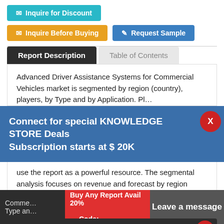✉ Inquire for Discount
✉ Inquire Before Buying
✎ Request Sample
Report Description
Table of Contents
Advanced Driver Assistance Systems for Commercial Vehicles market is segmented by region (country), players, by Type and by Application. Players, stakeholders, and other participants in the global
Connect for special KNOWLEDGE STORE Deals
Subscription starts at $ 20K
use the report as a powerful resource. The segmental analysis focuses on revenue and forecast by region (country), by Type and by Application for the period 2017-2028.
Request For Sample Of This Report
Comme... Type an...
Buy Any Report Avail 20%
... Code:
Leave a message